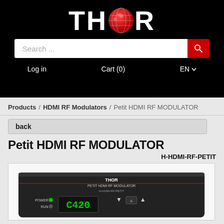[Figure (logo): THOR logo with globe replacing the O, white text on black background]
Search ...
Log in   Cart (0)   EN
Products / HDMI RF Modulators / Petit HDMI RF MODULATOR
back
Petit HDMI RF MODULATOR
H-HDMI-RF-PETIT
[Figure (photo): Photo of the Petit HDMI RF Modulator device showing front panel with POWER and RUN LEDs, digital display showing C420, and control buttons]